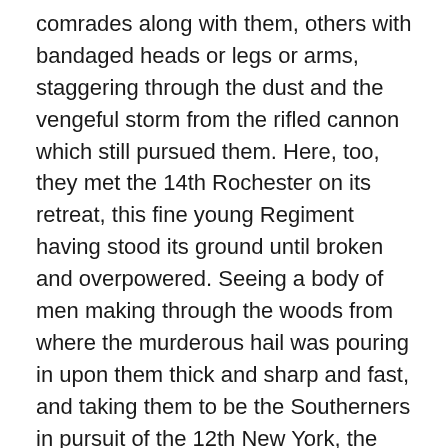comrades along with them, others with bandaged heads or legs or arms, staggering through the dust and the vengeful storm from the rifled cannon which still pursued them. Here, too, they met the 14th Rochester on its retreat, this fine young Regiment having stood its ground until broken and overpowered. Seeing a body of men making through the woods from where the murderous hail was pouring in upon them thick and sharp and fast, and taking them to be the Southerners in pursuit of the 12th New York, the boys of the 69th instinctively brought their bayonets to the charge, and were on the point of plunging upon the 13th when Capt. Haggerty dashed along the line a struck the bayonets upward with his sword. It was the bold act of a cool. Strong, decisive brain, and in an instant it stayed the 69th with an iron hand, as it were, and held it in a masterly suspense. The next moment we were ordered to lie down